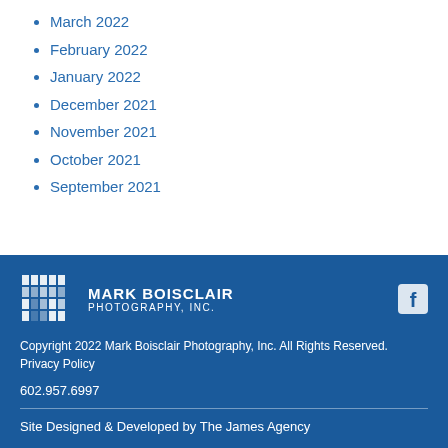March 2022
February 2022
January 2022
December 2021
November 2021
October 2021
September 2021
[Figure (logo): Mark Boisclair Photography, Inc. logo with stylized MB monogram]
Copyright 2022 Mark Boisclair Photography, Inc. All Rights Reserved. Privacy Policy
602.957.6997
Site Designed & Developed by The James Agency